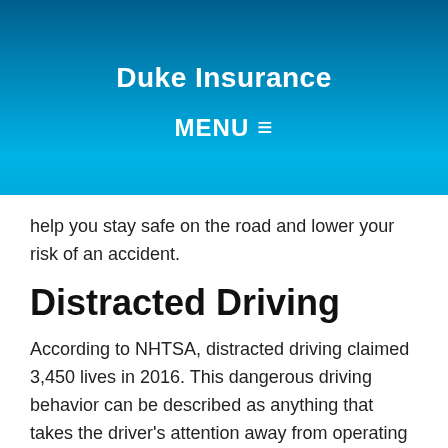Duke Insurance
MENU
help you stay safe on the road and lower your risk of an accident.
Distracted Driving
According to NHTSA, distracted driving claimed 3,450 lives in 2016. This dangerous driving behavior can be described as anything that takes the driver's attention away from operating the vehicle. The three main types of driver distractions are visual (such as taking your eyes off